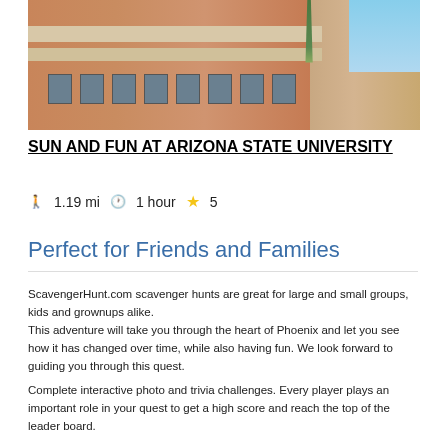[Figure (photo): Exterior photo of a brick university building with concrete brise-soleil sunshades, balconies, and palm trees against a blue sky — Arizona State University campus.]
SUN AND FUN AT ARIZONA STATE UNIVERSITY
🚶 1.19 mi  🕐 1 hour  ★ 5
Perfect for Friends and Families
ScavengerHunt.com scavenger hunts are great for large and small groups, kids and grownups alike.
This adventure will take you through the heart of Phoenix and let you see how it has changed over time, while also having fun. We look forward to guiding you through this quest.
Complete interactive photo and trivia challenges. Every player plays an important role in your quest to get a high score and reach the top of the leader board.